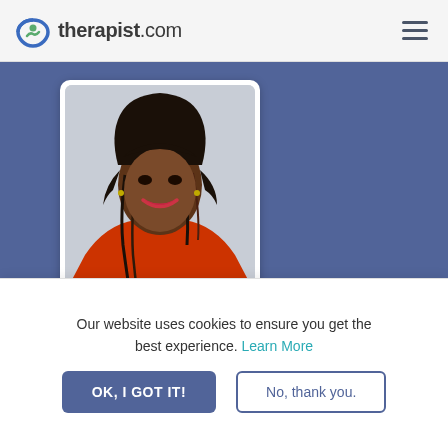therapist.com
[Figure (photo): Profile photo of Angel King, a woman with braided hair wearing an orange/red top, smiling against a light background]
Angel King, M.Ed, LPC-S, NCC
Our website uses cookies to ensure you get the best experience. Learn More
OK, I GOT IT!
No, thank you.